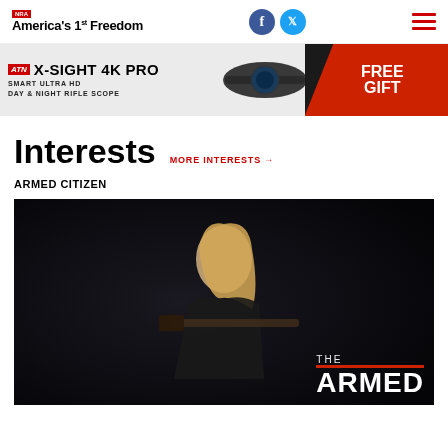NRA America's 1st Freedom
[Figure (infographic): Advertisement banner for ATN X-Sight 4K Pro Smart Ultra HD Day & Night Rifle Scope with Free Gift offer]
Interests
MORE INTERESTS →
ARMED CITIZEN
[Figure (photo): Woman with blonde hair holding a rifle against a dark background, with 'THE ARMED' text overlay at bottom right]